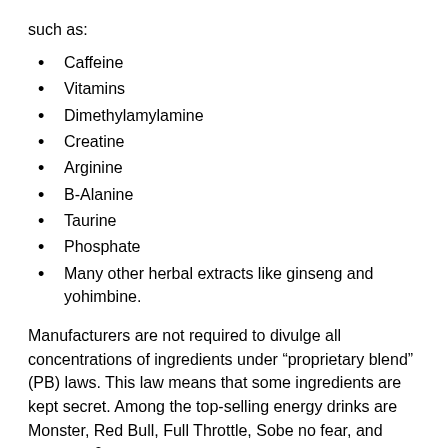such as:
Caffeine
Vitamins
Dimethylamylamine
Creatine
Arginine
B-Alanine
Taurine
Phosphate
Many other herbal extracts like ginseng and yohimbine.
Manufacturers are not required to divulge all concentrations of ingredients under “proprietary blend” (PB) laws. This law means that some ingredients are kept secret. Among the top-selling energy drinks are Monster, Red Bull, Full Throttle, Sobe no fear, and Rockstar.2
Caffeine, sugar, and sodium are the only consistently listed